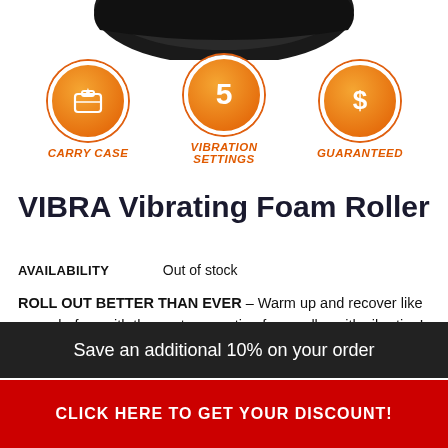[Figure (photo): Top portion of a black vibrating foam roller product against white background]
[Figure (infographic): Three orange circular icons: carry case (briefcase with star), 5 vibration settings (number 5), and price guaranteed (dollar sign), each with italic orange label text below]
VIBRA Vibrating Foam Roller
AVAILABILITY    Out of stock
ROLL OUT BETTER THAN EVER – Warm up and recover like never before with the next-generation foam roller with vibration! Powerful pulses reverberate through tight and sore muscles, thwarting tension and soreness like no regular roller ever
Save an additional 10% on your order
CLICK HERE TO GET YOUR DISCOUNT!